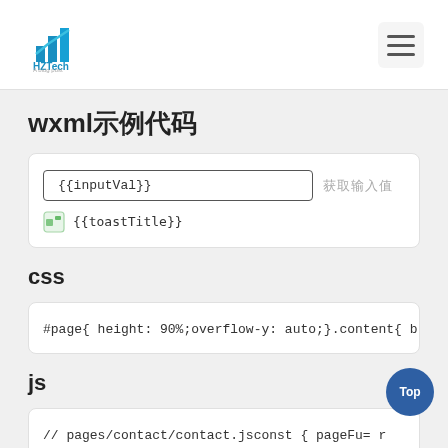HZTech logo and navigation hamburger
wxml示例代码
[Figure (screenshot): WXML preview box showing {{inputVal}} input field and 获取输入值 button, with a toast icon and {{toastTitle}} code]
css
[Figure (screenshot): CSS code box: #page{ height: 90%;overflow-y: auto;}.content{ b]
js
[Figure (screenshot): JS code box: // pages/contact/contact.jsconst { pageFu = r]
上面代码运行后，在输入框中输入内容后点击获取输入值
运行效果如下: